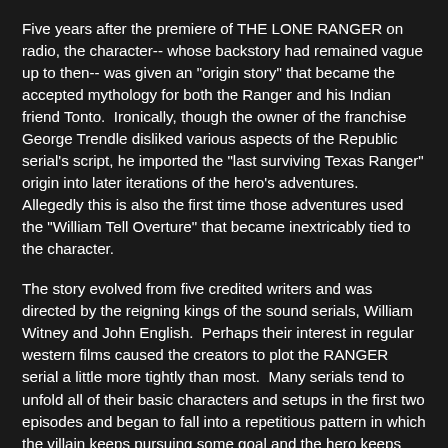Five years after the premiere of THE LONE RANGER on radio, the character-- whose backstory had remained vague up to then-- was given an "origin story" that became the accepted mythology for both the Ranger and his Indian friend Tonto.  Ironically, though the owner of the franchise George Trendle disliked various aspects of the Republic serial's script, he imported the "last surviving Texas Ranger" origin into later iterations of the hero's adventures.  Allegedly this is also the first time those adventures used the "William Tell Overture" that became inextricably tied to the character.
The story evolved from five credited writers and was directed by the reigning kings of the sound serials, William Witney and John English.  Perhaps their interest in regular western films caused the creators to plot the RANGER serial a little more tightly than most.  Many serials tend to unfold all of their basic characters and setups in the first two episodes and began to fall into a repetitious pattern in which the villain keeps pursuing some goal and the hero keeps stopping him, but doesn't catch the evildoers until the final episode.
RANGER starts with a basic idea seen in many films: having